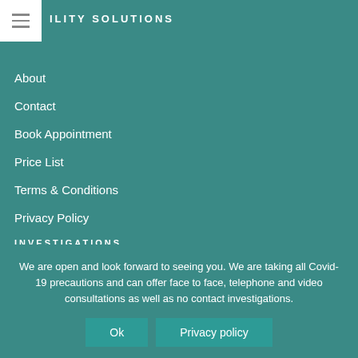ILITY SOLUTIONS
About
Contact
Book Appointment
Price List
Terms & Conditions
Privacy Policy
INVESTIGATIONS
We are open and look forward to seeing you. We are taking all Covid-19 precautions and can offer face to face, telephone and video consultations as well as no contact investigations.
Ok
Privacy policy